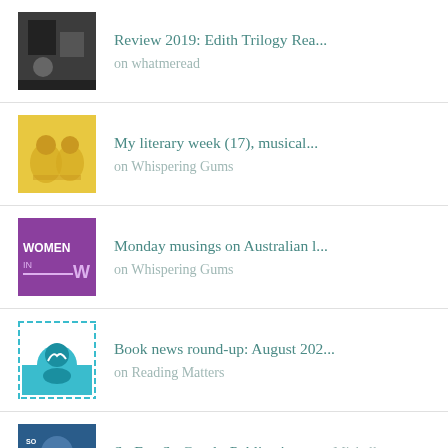Review 2019: Edith Trilogy Rea... on whatmeread
My literary week (17), musical... on Whispering Gums
Monday musings on Australian l... on Whispering Gums
Book news round-up: August 202... on Reading Matters
So Far, So Good - Publication... on Michelle Scott Tucker